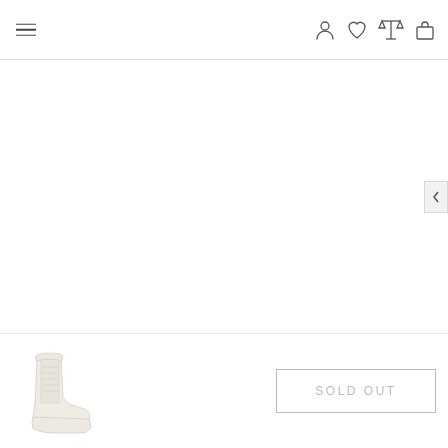[Figure (screenshot): E-commerce product page header with hamburger menu on the left and icons (user, heart/wishlist, scales/compare, shopping bag) on the right]
[Figure (photo): Large white/blank product image area for a boot, with a left-arrow navigation button on the far right edge]
[Figure (photo): Thumbnail image of a beige/cream lace-up ankle boot at bottom left]
SOLD OUT